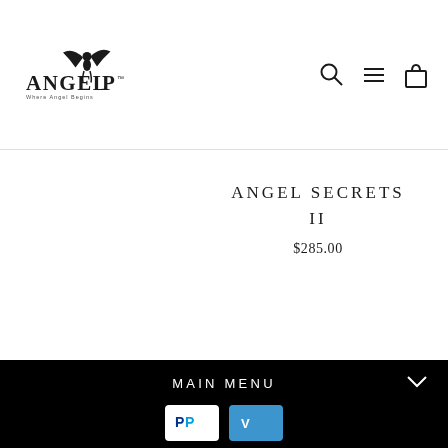[Figure (logo): Angel P Beauty logo with winged figure and tagline 'Where Angel Begins']
[Figure (illustration): Navigation icons: search magnifier, hamburger menu, shopping bag]
ANGEL SECRETS II
$285.00
MAIN MENU
[Figure (other): PayPal and Venmo payment method badges]
© 2022 Angel P Beauty
Powered by Shopify